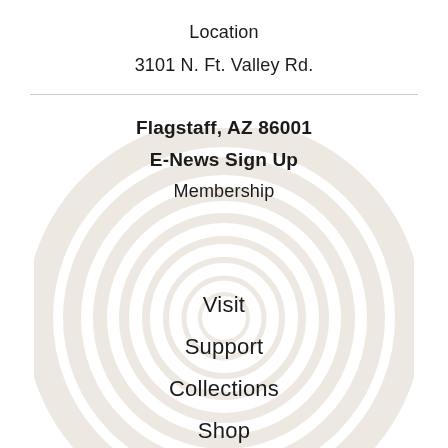Location
3101 N. Ft. Valley Rd.
Flagstaff, AZ 86001
E-News Sign Up
Membership
Visit
Support
Collections
Shop